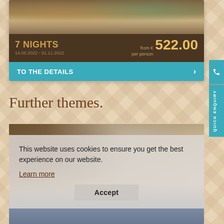[Figure (photo): People sitting outdoors, travel/tourism promotional photo]
7 NIGHTS
14.08.2022 - 01.11.2022
from € per person 522.00
TO THE DETAILS
Further themes.
[Figure (photo): Hotel room interior with sofa and bed]
This website uses cookies to ensure you get the best experience on our website.
Learn more
Accept